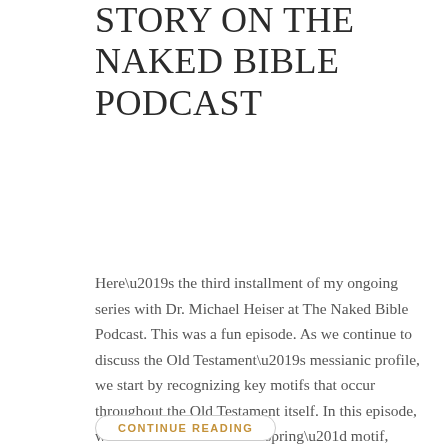Story on the Naked Bible Podcast
Here's the third installment of my ongoing series with Dr. Michael Heiser at The Naked Bible Podcast. This was a fun episode. As we continue to discuss the Old Testament's messianic profile, we start by recognizing key motifs that occur throughout the Old Testament itself. In this episode, we talk about the “offspring” motif, which…
CONTINUE READING